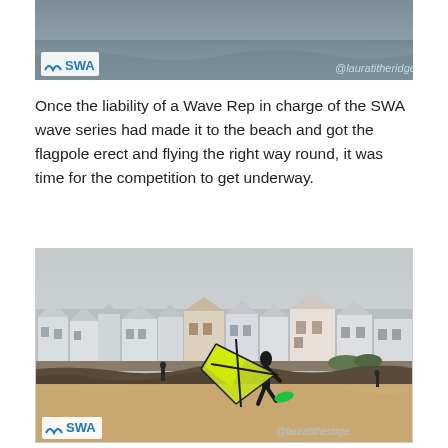[Figure (photo): Partial top photo showing water/waves background with SWA logo in bottom-left and @lauratitheridge watermark in bottom-right]
Once the liability of a Wave Rep in charge of the SWA wave series had made it to the beach and got the flagpole erect and flying the right way round, it was time for the competition to get underway.
[Figure (photo): A windsurfer on a sandy beach carrying a bright yellow-green sail, with buildings and houses in the background on an overcast day. SWA logo bottom-left, @lauratitheridge watermark bottom-right.]